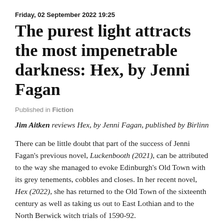Friday, 02 September 2022 19:25
The purest light attracts the most impenetrable darkness: Hex, by Jenni Fagan
Published in Fiction
Jim Aitken reviews Hex, by Jenni Fagan, published by Birlinn
There can be little doubt that part of the success of Jenni Fagan's previous novel, Luckenbooth (2021), can be attributed to the way she managed to evoke Edinburgh's Old Town with its grey tenements, cobbles and closes. In her recent novel, Hex (2022), she has returned to the Old Town of the sixteenth century as well as taking us out to East Lothian and to the North Berwick witch trials of 1590-92.
The novel was written for Geillis Duncan and she is in fact the novel's main character. Geillis was known as